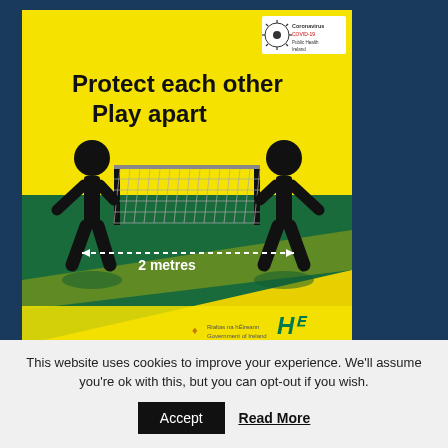[Figure (infographic): Yellow and green background infographic showing two black stick figures standing on opposite sides of a tennis/badminton net with a dotted double-headed arrow indicating '2 metres' distance. Text reads 'Protect each other Play apart'. Top right corner has a Coronavirus COVID-19 Public Health Ireland logo. Bottom has Government of Ireland and HSE logos.]
Latest Tweets
https://t.co/n6rCOTPuap https://t.co/50yy7T9WZ7, May 31
This website uses cookies to improve your experience. We'll assume you're ok with this, but you can opt-out if you wish.
Accept  Read More